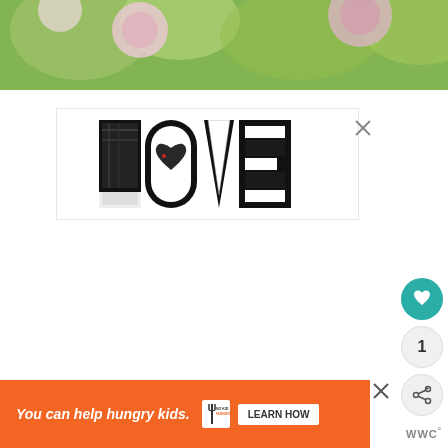[Figure (photo): Blurry close-up photo of pink flowers and green foliage bokeh background]
[Figure (logo): LOVE logo with illustrated black and white collage artwork filling each letter, with a red heart dot on the O]
1
[Figure (infographic): Orange advertisement banner: 'You can help hungry kids.' with No Kid Hungry logo and LEARN HOW button]
WWC°